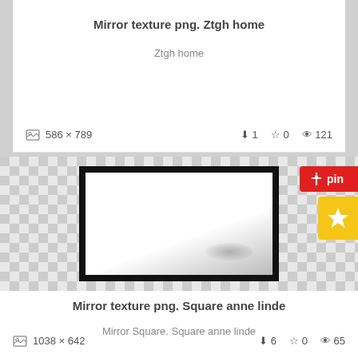Mirror texture png. Ztgh home
Ztgh home
586 × 789   ⬇ 1   ☆ 0   👁 121
[Figure (photo): Mirror texture PNG thumbnail with checkered background, black-framed mirror with white/grey gradient interior, red pin button and yellow star button on right side]
Mirror texture png. Square anne linde
Mirror Square. Square anne linde
1038 × 642   ⬇ 6   ☆ 0   👁 65